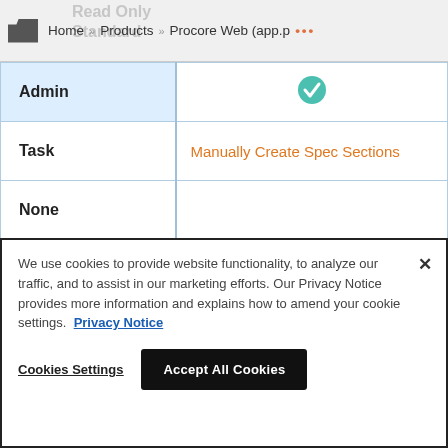Read Only  Standard  Home >> Products >> Procore Web (app.p ...
| Role | Action |
| --- | --- |
| Admin | ✓ |
| Task | Manually Create Spec Sections |
| None |  |
| Read Only |  |
| Standard |  |
| Admin | ✓ |
We use cookies to provide website functionality, to analyze our traffic, and to assist in our marketing efforts. Our Privacy Notice provides more information and explains how to amend your cookie settings.  Privacy Notice
Cookies Settings   Accept All Cookies